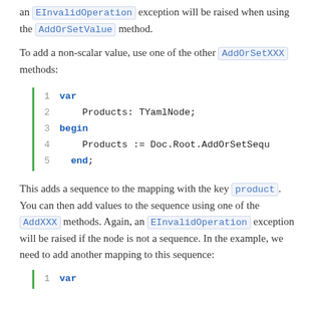an EInvalidOperation exception will be raised when using the AddOrSetValue method.
To add a non-scalar value, use one of the other AddOrSetXXX methods:
[Figure (screenshot): Code block with 5 lines: 1: var, 2: Products: TYamlNode;, 3: begin, 4: Products := Doc.Root.AddOrSetSequence(...), 5: end;]
This adds a sequence to the mapping with the key product. You can then add values to the sequence using one of the AddXXX methods. Again, an EInvalidOperation exception will be raised if the node is not a sequence. In the example, we need to add another mapping to this sequence:
[Figure (screenshot): Code block starting with line 1: var (partial, cut off at bottom)]